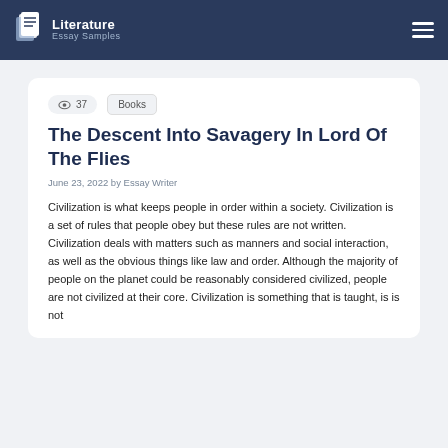Literature Essay Samples
37   Books
The Descent Into Savagery In Lord Of The Flies
June 23, 2022 by Essay Writer
Civilization is what keeps people in order within a society. Civilization is a set of rules that people obey but these rules are not written. Civilization deals with matters such as manners and social interaction, as well as the obvious things like law and order. Although the majority of people on the planet could be reasonably considered civilized, people are not civilized at their core. Civilization is something that is taught, is is not